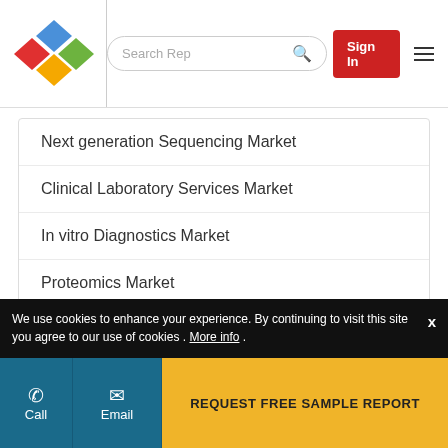[Figure (logo): Colorful diamond/rhombus logo with blue, red, and green shapes]
Next generation Sequencing Market
Clinical Laboratory Services Market
In vitro Diagnostics Market
Proteomics Market
REQUEST BUNDLE REPORTS
We use cookies to enhance your experience. By continuing to visit this site you agree to our use of cookies . More info .
REQUEST FREE SAMPLE REPORT